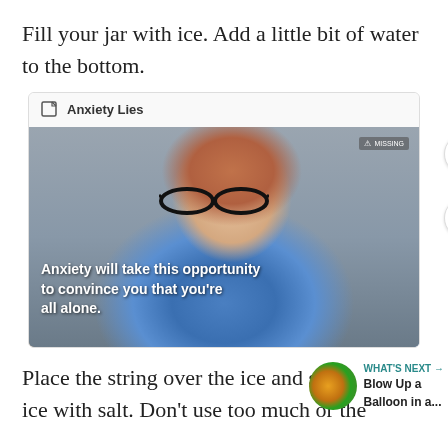Fill your jar with ice. Add a little bit of water to the bottom.
[Figure (screenshot): Embedded social media card from 'Anxiety Lies' page showing a red-haired boy with glasses looking at a computer, with overlaid text: 'Anxiety will take this opportunity to convince you that you're all alone.']
Place the string over the ice and spri ice with salt. Don't use too much or the